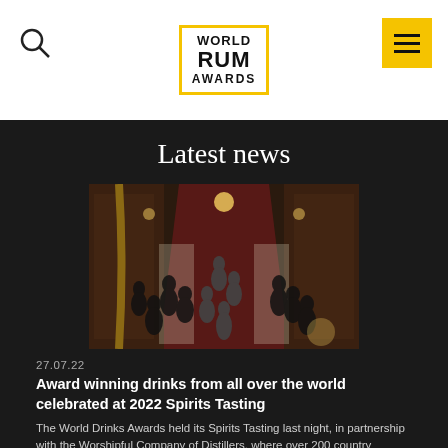[Figure (logo): World Rum Awards logo with yellow border]
Latest news
[Figure (photo): Aerial view of a large tasting hall filled with people at long tables with bottles and glasses, ornate chandeliers, wood-panelled walls]
27.07.22
Award winning drinks from all over the world celebrated at 2022 Spirits Tasting
The World Drinks Awards held its Spirits Tasting last night, in partnership with the Worshipful Company of Distillers, where over 200 country